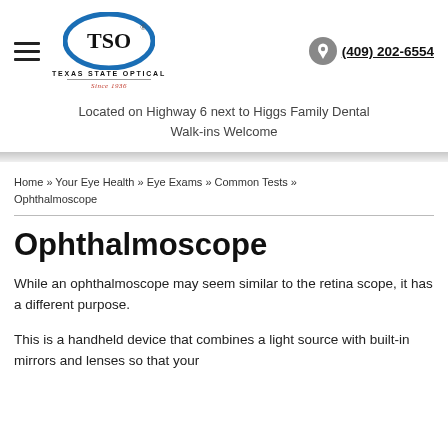[Figure (logo): Texas State Optical (TSO) logo with blue oval, hamburger menu icon on left]
(409) 202-6554
Located on Highway 6 next to Higgs Family Dental
Walk-ins Welcome
Home » Your Eye Health » Eye Exams » Common Tests » Ophthalmoscope
Ophthalmoscope
While an ophthalmoscope may seem similar to the retina scope, it has a different purpose.
This is a handheld device that combines a light source with built-in mirrors and lenses so that your